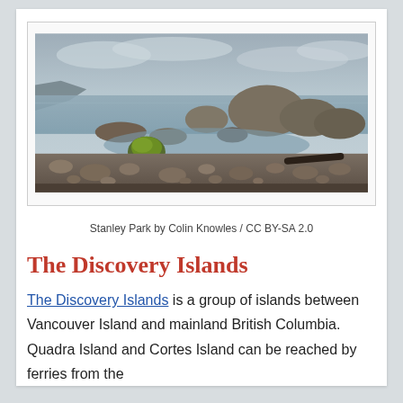[Figure (photo): Rocky shoreline with stones and a moss-covered green rock in shallow water, larger boulders in the background under an overcast sky. Stanley Park by Colin Knowles.]
Stanley Park by Colin Knowles / CC BY-SA 2.0
The Discovery Islands
The Discovery Islands is a group of islands between Vancouver Island and mainland British Columbia. Quadra Island and Cortes Island can be reached by ferries from the